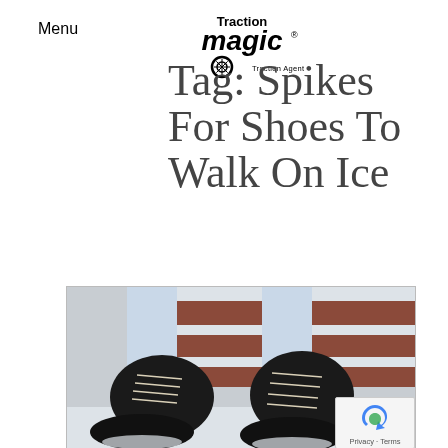Menu
[Figure (logo): Traction Magic logo with snowflake tire icon and 'Traction Agent' text]
Tag: Spikes For Shoes To Walk On Ice
[Figure (photo): Close-up photo of black winter boots with white laces on a snowy background near red brick steps]